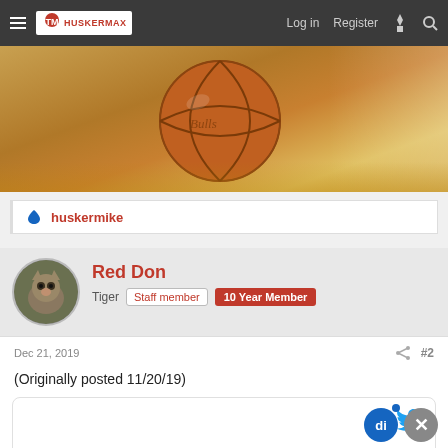HuskerMax — Log in   Register
[Figure (photo): Basketball banner image showing a basketball on a hardwood court floor]
huskermike
Red Don
Tiger  Staff member  10 Year Member
Dec 21, 2019  #2
(Originally posted 11/20/19)
[Figure (screenshot): Embedded Twitter/tweet content block with Twitter bird icon in top right]